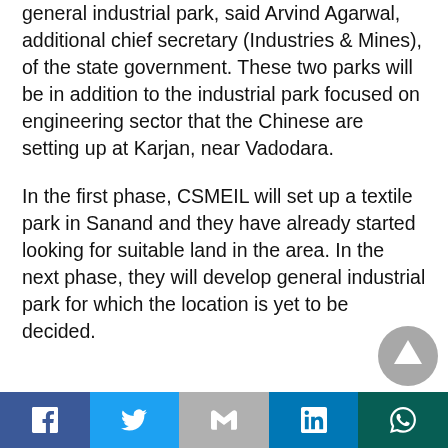general industrial park, said Arvind Agarwal, additional chief secretary (Industries & Mines), of the state government. These two parks will be in addition to the industrial park focused on engineering sector that the Chinese are setting up at Karjan, near Vadodara.
In the first phase, CSMEIL will set up a textile park in Sanand and they have already started looking for suitable land in the area. In the next phase, they will develop general industrial park for which the location is yet to be decided.
Facebook | Twitter | Gmail | LinkedIn | WhatsApp